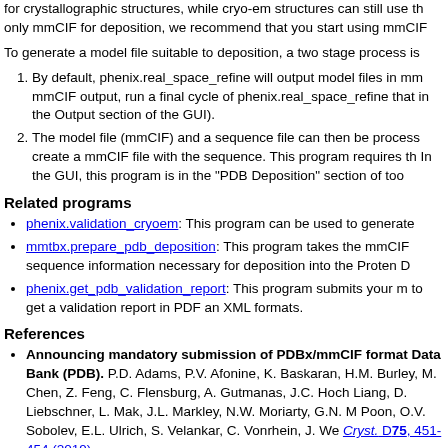for crystallographic structures, while cryo-em structures can still use th only mmCIF for deposition, we recommend that you start using mmCIF
To generate a model file suitable to deposition, a two stage process is
By default, phenix.real_space_refine will output model files in mm mmCIF output, run a final cycle of phenix.real_space_refine that in the Output section of the GUI).
The model file (mmCIF) and a sequence file can then be process create a mmCIF file with the sequence. This program requires th In the GUI, this program is in the "PDB Deposition" section of too
Related programs
phenix.validation_cryoem: This program can be used to generate
mmtbx.prepare_pdb_deposition: This program takes the mmCIF sequence information necessary for deposition into the Proten D
phenix.get_pdb_validation_report: This program submits your m to get a validation report in PDF an XML formats.
References
Announcing mandatory submission of PDBx/mmCIF format Data Bank (PDB). P.D. Adams, P.V. Afonine, K. Baskaran, H.M. Burley, M. Chen, Z. Feng, C. Flensburg, A. Gutmanas, J.C. Hoch Liang, D. Liebschner, L. Mak, J.L. Markley, N.W. Moriarty, G.N. M Poon, O.V. Sobolev, E.L. Ulrich, S. Velankar, C. Vonrhein, J. We Cryst. D75, 451-454 (2019).